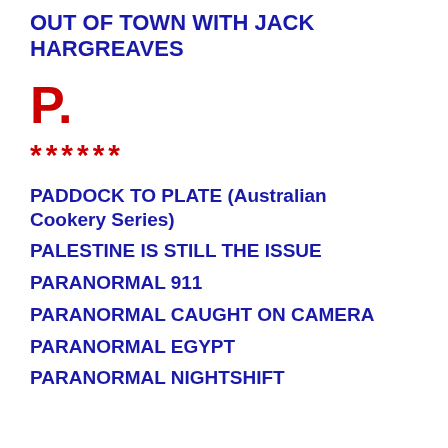OUT OF TOWN WITH JACK HARGREAVES
P.
******
PADDOCK TO PLATE (Australian Cookery Series)
PALESTINE IS STILL THE ISSUE
PARANORMAL 911
PARANORMAL CAUGHT ON CAMERA
PARANORMAL EGYPT
PARANORMAL NIGHTSHIFT